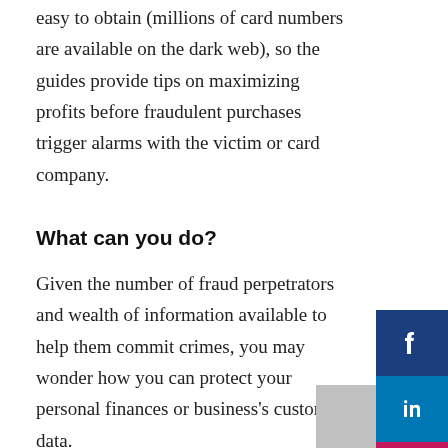easy to obtain (millions of card numbers are available on the dark web), so the guides provide tips on maximizing profits before fraudulent purchases trigger alarms with the victim or card company.
What can you do?
Given the number of fraud perpetrators and wealth of information available to help them commit crimes, you may wonder how you can protect your personal finances or business's customer data.
Individuals can reduce their risk by ignoring suspicious emails and disclosing financial information only on sites that provide SSL certificate authentication and encryption. Also, they should share even innocuous-seeming